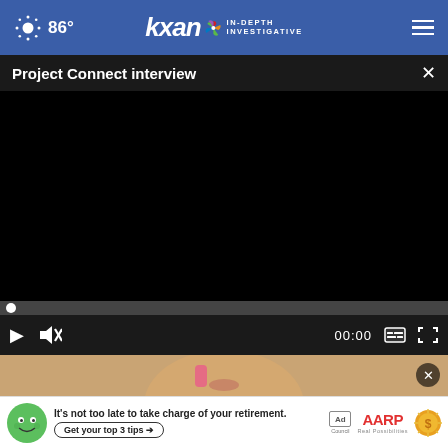86° kxan IN-DEPTH INVESTIGATIVE
Project Connect interview
[Figure (screenshot): Video player showing a black video frame with playback controls: play button, mute button, time display 00:00, captions button, and fullscreen button. A progress bar with a white dot at the beginning is visible.]
[Figure (photo): Thumbnail photo of a person's face, partially visible, with blonde hair. A close button (X) appears in the upper right corner of the thumbnail.]
[Figure (screenshot): Advertisement banner: green cartoon mascot face, text 'It's not too late to take charge of your retirement.' with 'Get your top 3 tips ->' button. Ad Council badge, AARP logo with 'Real Possibilities' tagline, and gold coin icon.]